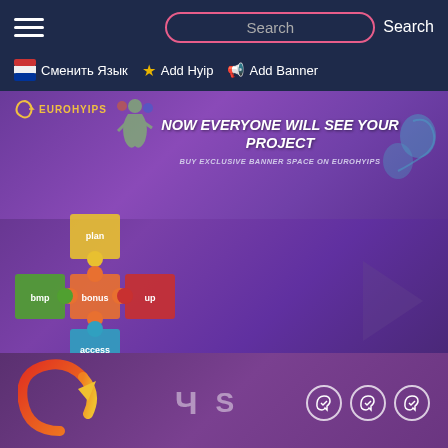Search | Search
Сменить Язык | Add Hyip | Add Banner
[Figure (screenshot): EuroHyips banner ad with text NOW EVERYONE WILL SEE YOUR PROJECT and BUY EXCLUSIVE BANNER SPACE ON EUROHYIPS, with colorful puzzle pieces and kangaroo silhouette on purple background]
[Figure (logo): EuroHyips logo - orange/red crescent C shape with yellow arrow, payment icons and three Telegram social circles]
Hot projects $